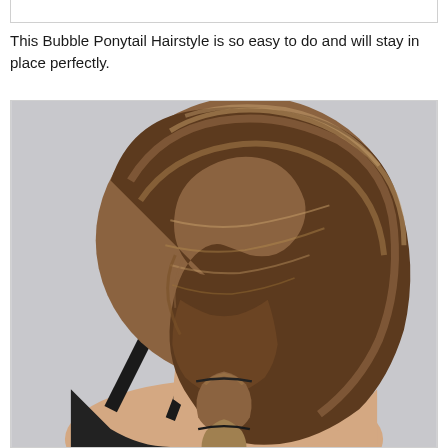This Bubble Ponytail Hairstyle is so easy to do and will stay in place perfectly.
[Figure (photo): Back view of a woman with a bubble ponytail hairstyle. Her hair is medium brown with highlights, pulled back into a ponytail with elastic bands creating bubble-like sections down the length. She is wearing a black spaghetti strap top and a delicate necklace. The background is a plain light gray.]